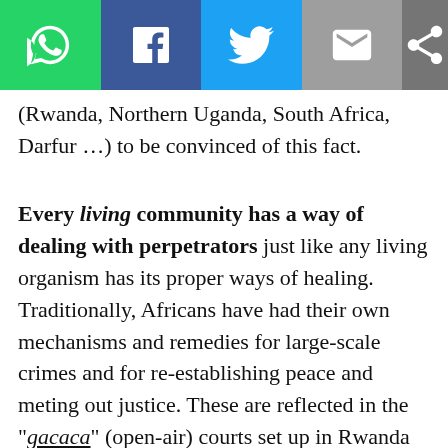[Figure (other): Social share toolbar with WhatsApp, Facebook, Twitter, Email, and Share buttons]
(Rwanda, Northern Uganda, South Africa, Darfur …) to be convinced of this fact.
Every living community has a way of dealing with perpetrators just like any living organism has its proper ways of healing. Traditionally, Africans have had their own mechanisms and remedies for large-scale crimes and for re-establishing peace and meting out justice. These are reflected in the “gacaca” (open-air) courts set up in Rwanda to cope with those suspected of organizing and carrying out the 1994 massacres. Mandela’s South Africa set up a Truth and Reconciliation Commission to deal with the crimes of torture and repression in the years of apartheid. Many people in northern Uganda, where there